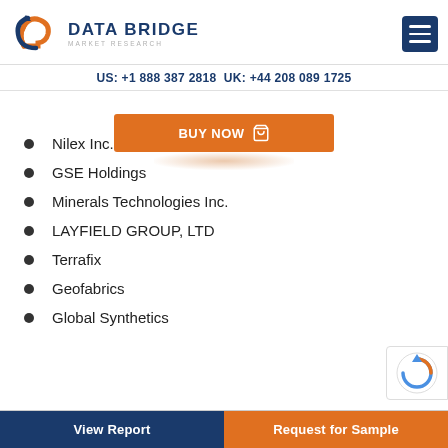DATA BRIDGE MARKET RESEARCH
US: +1 888 387 2818 UK: +44 208 089 1725
[Figure (other): BUY NOW button with shopping cart icon]
Nilex Inc.
GSE Holdings
Minerals Technologies Inc.
LAYFIELD GROUP, LTD
Terrafix
Geofabrics
Global Synthetics
View Report | Request for Sample